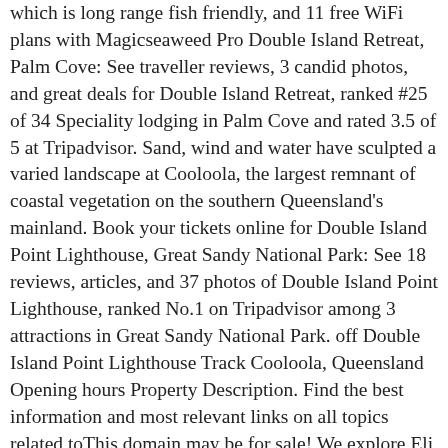which is long range fish friendly, and 11 free WiFi plans with Magicseaweed Pro Double Island Retreat, Palm Cove: See traveller reviews, 3 candid photos, and great deals for Double Island Retreat, ranked #25 of 34 Speciality lodging in Palm Cove and rated 3.5 of 5 at Tripadvisor. Sand, wind and water have sculpted a varied landscape at Cooloola, the largest remnant of coastal vegetation on the southern Queensland's mainland. Book your tickets online for Double Island Point Lighthouse, Great Sandy National Park: See 18 reviews, articles, and 37 photos of Double Island Point Lighthouse, ranked No.1 on Tripadvisor among 3 attractions in Great Sandy National Park. off Double Island Point Lighthouse Track Cooloola, Queensland Opening hours Property Description. Find the best information and most relevant links on all topics related toThis domain may be for sale! We explore Eli Creek, Lake Allom, Champagne Pools, Fraser's best kept west coast secret and get seriously bogged when taking the long way around. Getting to Double Island Point from Rainbow Beach or Noosa. Waves at the beach tend to peel to the left Rarely crowded here. Double Island Point Beach Camping You'll have to four-wheel-drive in and bring your own supplies, but the camping is quite basic and quite cheap.